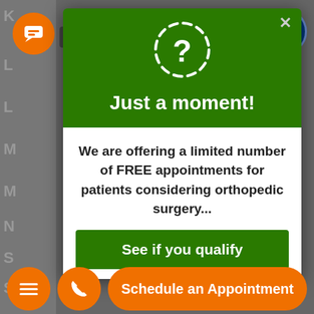[Figure (screenshot): Medical website screenshot with modal popup overlay. Background shows a grayed-out webpage with alphabetical navigation letters on the left sidebar. An orange chat button and 'Text Us' label are visible top-left. A blue accessibility icon is top-right. A modal dialog has a green header with a dashed question mark circle and title 'Just a moment!', a white body with bold text about free orthopedic surgery appointments, and a green 'See if you qualify' button. Orange bottom navigation bar shows hamburger menu, phone button, and 'Schedule an Appointment' pill button.]
Text Us
Just a moment!
We are offering a limited number of FREE appointments for patients considering orthopedic surgery...
See if you qualify
Schedule an Appointment